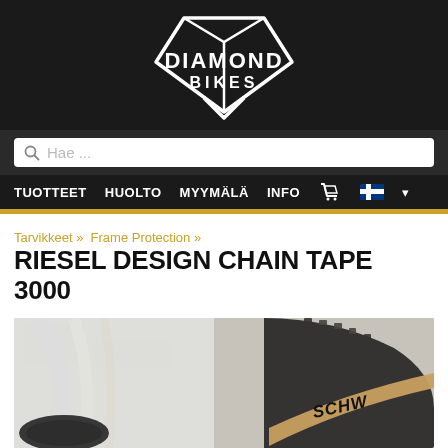[Figure (logo): Diamond Bikes logo: white geometric diamond/shield shape with text DIAMOND BIKES on black background]
[Figure (screenshot): Search bar with magnifying glass icon and placeholder text 'Hae ...' on dark background]
TUOTTEET  HUOLTO  MYYMÄLÄ  INFO
Tarvikkeet » Frame Protection »
RIESEL DESIGN CHAIN TAPE 3000
[Figure (photo): Close-up photo of a bicycle wheel/frame with Schwalbe tire visible, with chain and frame protection tape applied]